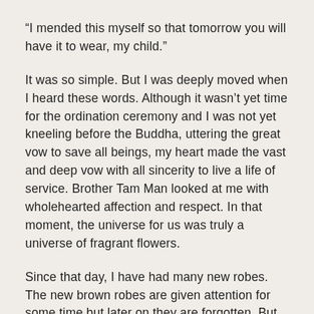“I mended this myself so that tomorrow you will have it to wear, my child.”
It was so simple. But I was deeply moved when I heard these words. Although it wasn’t yet time for the ordination ceremony and I was not yet kneeling before the Buddha, uttering the great vow to save all beings, my heart made the vast and deep vow with all sincerity to live a life of service. Brother Tam Man looked at me with wholehearted affection and respect. In that moment, the universe for us was truly a universe of fragrant flowers.
Since that day, I have had many new robes. The new brown robes are given attention for some time but later on they are forgotten. But the old torn brown robe from my past will always remain holy. Today, the robe is too torn to be worn, but I still hold on to it so that